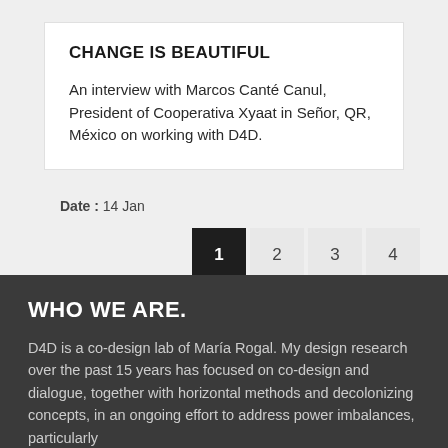CHANGE IS BEAUTIFUL
An interview with Marcos Canté Canul, President of Cooperativa Xyaat in Señor, QR, México on working with D4D.
Date:  14 Jan
WHO WE ARE.
D4D is a co-design lab of María Rogal. My design research over the past 15 years has focused on co-design and dialogue, together with horizontal methods and decolonizing concepts, in an ongoing effort to address power imbalances, particularly